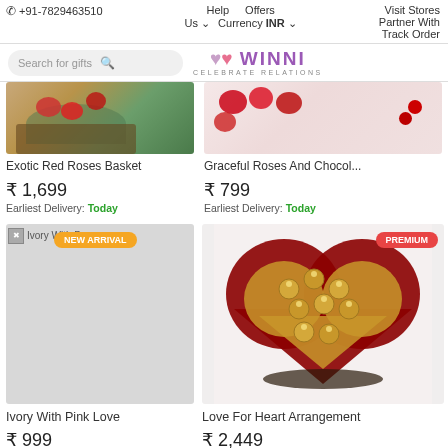+91-7829463510  Help  Offers  Visit Stores  Partner With Us  Currency INR  Track Order
[Figure (screenshot): Search bar and Winni logo header]
[Figure (photo): Top portion of Exotic Red Roses Basket product image]
[Figure (photo): Top portion of Graceful Roses And Chocolate product image]
Exotic Red Roses Basket
₹ 1,699
Earliest Delivery: Today
Graceful Roses And Chocol...
₹ 799
Earliest Delivery: Today
[Figure (photo): Ivory With Pink Love product placeholder with NEW ARRIVAL badge]
[Figure (photo): Love For Heart Arrangement with red roses and Ferrero Rocher chocolates, PREMIUM badge]
Ivory With Pink Love
₹ 999
Love For Heart Arrangement
₹ 2,449